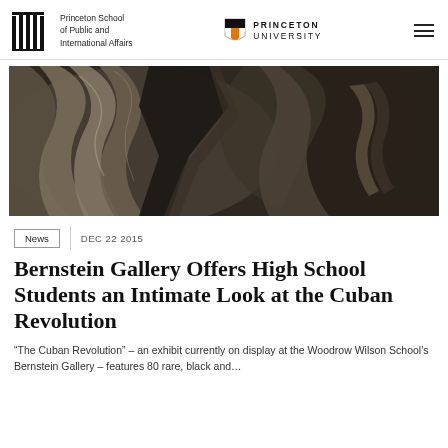Princeton School of Public and International Affairs | PRINCETON UNIVERSITY
[Figure (photo): Black and white photograph showing close-up of people in clothing, dark and textured, associated with Cuban Revolution exhibit]
News   DEC 22 2015
Bernstein Gallery Offers High School Students an Intimate Look at the Cuban Revolution
“The Cuban Revolution” – an exhibit currently on display at the Woodrow Wilson School’s Bernstein Gallery – features 80 rare, black and…